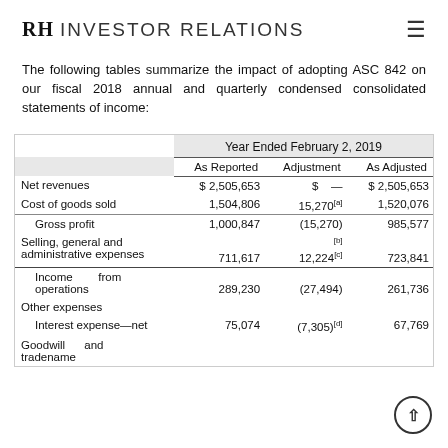RH INVESTOR RELATIONS
The following tables summarize the impact of adopting ASC 842 on our fiscal 2018 annual and quarterly condensed consolidated statements of income:
|  | As Reported | Adjustment | As Adjusted |
| --- | --- | --- | --- |
| Net revenues | $ 2,505,653 | $ — | $ 2,505,653 |
| Cost of goods sold | 1,504,806 | 15,270[a] | 1,520,076 |
| Gross profit | 1,000,847 | (15,270) | 985,577 |
| Selling, general and administrative expenses | 711,617 | 12,224[c] | 723,841 |
| Income from operations | 289,230 | (27,494) | 261,736 |
| Other expenses |  |  |  |
| Interest expense—net | 75,074 | (7,305)[d] | 67,769 |
| Goodwill and tradename |  |  |  |